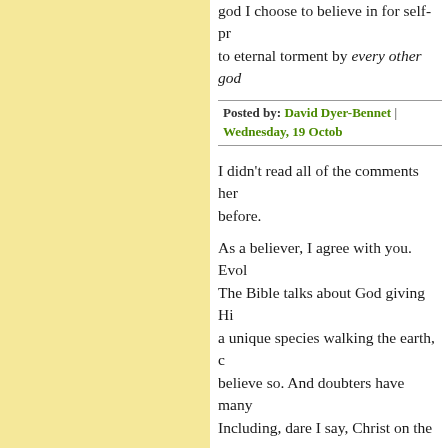god I choose to believe in for self-pr... to eternal torment by every other god...
Posted by: David Dyer-Bennet | Wednesday, 19 Octob...
I didn't read all of the comments her... before.
As a believer, I agree with you. Evol... The Bible talks about God giving Hi... a unique species walking the earth, c... believe so. And doubters have many... Including, dare I say, Christ on the c... why have you forsaken me?"
In any event, well said.
Posted by: Michael | Wednesday, 19 October 2011 at 1...
"But if you are wrong, Tim, then you... evil of lies that promised hope and...